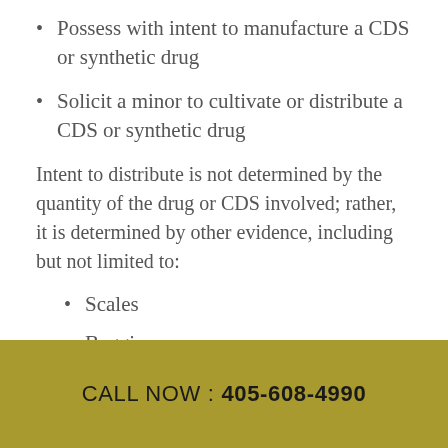Possess with intent to manufacture a CDS or synthetic drug
Solicit a minor to cultivate or distribute a CDS or synthetic drug
Intent to distribute is not determined by the quantity of the drug or CDS involved; rather, it is determined by other evidence, including but not limited to:
Scales
Baggies
CALL NOW : 405-608-4990